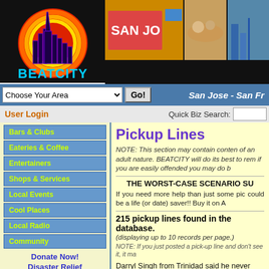[Figure (logo): BeatCity logo: city skyline silhouette against a red/orange/yellow circular sun, with 'BEATCITY' in cyan text below]
[Figure (photo): Banner strip showing San Jose photos including a building with 'SAN JO' sign, food items, and city scenes]
Choose Your Area  Go!  San Jose - San Fr
User Login   Quick Biz Search:
Bars & Clubs
Eateries & Coffee
Entertainers
Shops & Services
Local Events
Cool Places
Local Radio
Community
Donate Now! Disaster Relief
Search & Save
Quick Search + Coupons
Pickup Lines
NOTE: This section may contain content of an adult nature. BEATCITY will do its best to remove them but if you are easily offended you may do b
THE WORST-CASE SCENARIO SU
If you need more help than just some pic could be a life (or date) saver!! Buy it on A
215 pickup lines found in the database.
(displaying up to 10 records per page.)
NOTE: If you just posted a pick-up line and don't see it, it ma
Darryl Singh from Trinidad said he never used t